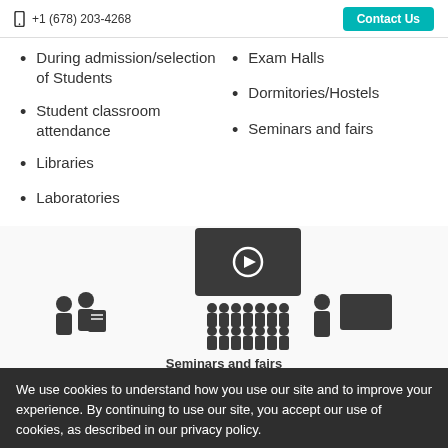+1 (678) 203-4268   Contact Us
During admission/selection of Students
Student classroom attendance
Libraries
Laboratories
Exam Halls
Dormitories/Hostels
Seminars and fairs
[Figure (illustration): Icons showing use cases: seminars and fairs (screen with audience), during (two people with documents), and a person at a computer screen]
Seminars and fairs
We use cookies to understand how you use our site and to improve your experience. By continuing to use our site, you accept our use of cookies, as described in our privacy policy.